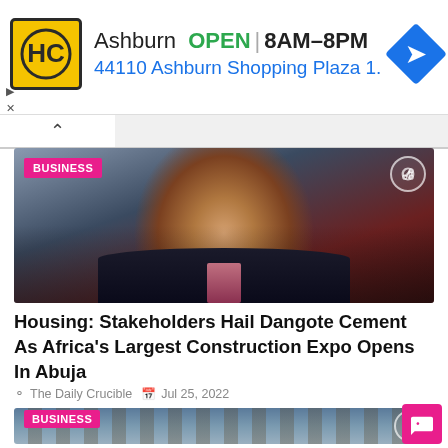[Figure (other): Advertisement banner for HC store in Ashburn showing logo, OPEN status, hours 8AM-8PM, address 44110 Ashburn Shopping Plaza 1., and navigation arrow icon]
[Figure (photo): Portrait photo of a man in a dark suit with pink/magenta tie, with BUSINESS tag overlay]
Housing: Stakeholders Hail Dangote Cement As Africa's Largest Construction Expo Opens In Abuja
The Daily Crucible  Jul 25, 2022
[Figure (photo): Industrial/refinery facility with pipes and equipment, worker in orange visible, with BUSINESS tag overlay]